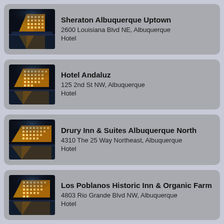Sheraton Albuquerque Uptown
2600 Louisiana Blvd NE, Albuquerque
Hotel
Hotel Andaluz
125 2nd St NW, Albuquerque
Hotel
Drury Inn & Suites Albuquerque North
4310 The 25 Way Northeast, Albuquerque
Hotel
Los Poblanos Historic Inn & Organic Farm
4803 Rio Grande Blvd NW, Albuquerque
Hotel